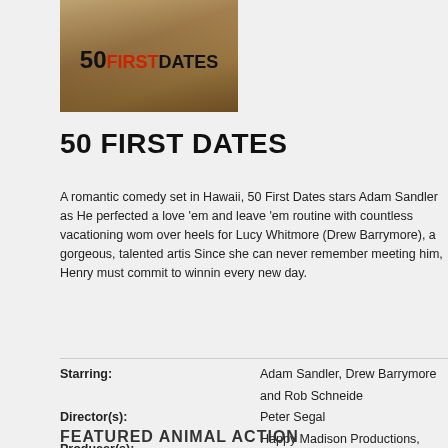[Figure (photo): Movie poster for 50 First Dates showing title text on a warm-toned background]
50 FIRST DATES
A romantic comedy set in Hawaii, 50 First Dates stars Adam Sandler as He... perfected a love 'em and leave 'em routine with countless vacationing wom... over heels for Lucy Whitmore (Drew Barrymore), a gorgeous, talented artis... Since she can never remember meeting him, Henry must commit to winnin... every new day.
| Starring: | Adam Sandler, Drew Barrymore and Rob Schneide... |
| Director(s): | Peter Segal |
| Producer(s): | Happy Madison Productions, Flower Films |
| Distributor: | Sony Pictures Entertainment and Columbia Picture... |
| Animal Coordinator: | Animals of Distinction |
| Release Date: | Friday, February 13, 2004 |
FEATURED ANIMAL ACTION